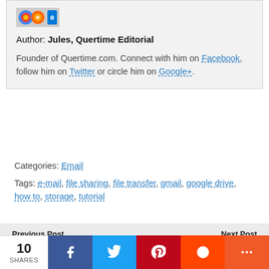[Figure (logo): Small browser logos image (Google Chrome, Firefox, Internet Explorer icons)]
Author: Jules, Quertime Editorial
Founder of Quertime.com. Connect with him on Facebook, follow him on Twitter or circle him on Google+.
Categories: Email
Tags: e-mail, file sharing, file transfer, gmail, google drive, how to, storage, tutorial
Previous Post | How / Where To Buy ... | Next Post | Ways Brand Use Social ...
10 SHARES